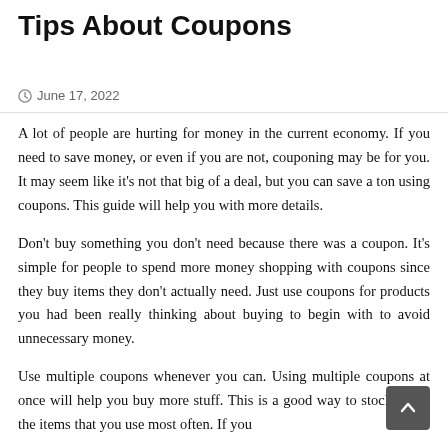Tips About Coupons
June 17, 2022
A lot of people are hurting for money in the current economy. If you need to save money, or even if you are not, couponing may be for you. It may seem like it’s not that big of a deal, but you can save a ton using coupons. This guide will help you with more details.
Don’t buy something you don’t need because there was a coupon. It’s simple for people to spend more money shopping with coupons since they buy items they don’t actually need. Just use coupons for products you had been really thinking about buying to begin with to avoid unnecessary money.
Use multiple coupons whenever you can. Using multiple coupons at once will help you buy more stuff. This is a good way to stock up on the items that you use most often. If you